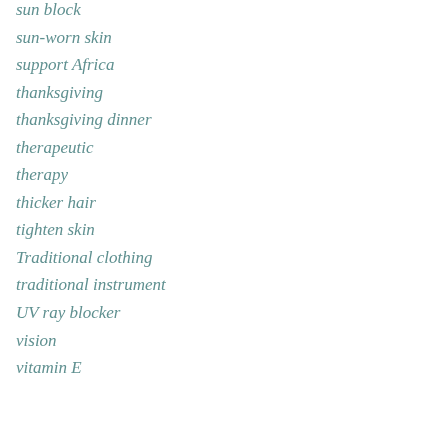sun block
sun-worn skin
support Africa
thanksgiving
thanksgiving dinner
therapeutic
therapy
thicker hair
tighten skin
Traditional clothing
traditional instrument
UV ray blocker
vision
vitamin E